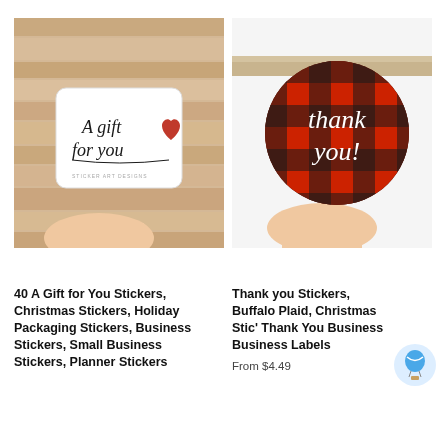[Figure (photo): A hand holding a white rectangular sticker with rounded corners that reads 'A gift for you' in black script lettering with a red watercolor heart, held against a wood plank background.]
[Figure (photo): A hand holding a round red and black buffalo plaid sticker that reads 'thank you!' in white script lettering, held against a white/light background.]
40 A Gift for You Stickers, Christmas Stickers, Holiday Packaging Stickers, Business Stickers, Small Business Stickers, Planner Stickers
Thank you Stickers, Buffalo Plaid, Christmas Stic' Thank You Business Business Labels
From $4.49